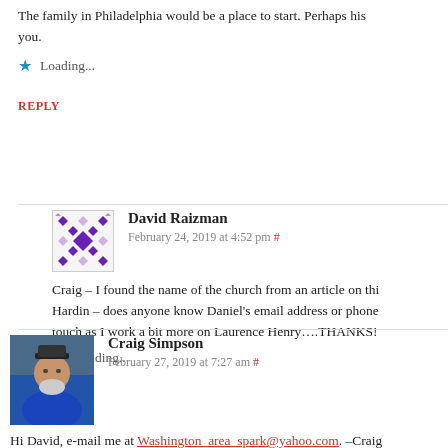The family in Philadelphia would be a place to start. Perhaps his you.
Loading...
REPLY
David Raizman
February 24, 2019 at 4:52 pm #
Craig – I found the name of the church from an article on thi Hardin – does anyone know Daniel's email address or phone touch as I work a bit more on Laurence Henry….THANKS!
Loading...
Craig Simpson
February 27, 2019 at 7:27 am #
Hi David, e-mail me at Washington_area_spark@yahoo.com. –Craig